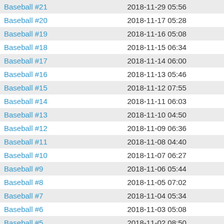| Name | Date |
| --- | --- |
| Baseball #21 | 2018-11-29 05:56 |
| Baseball #20 | 2018-11-17 05:28 |
| Baseball #19 | 2018-11-16 05:08 |
| Baseball #18 | 2018-11-15 06:34 |
| Baseball #17 | 2018-11-14 06:00 |
| Baseball #16 | 2018-11-13 05:46 |
| Baseball #15 | 2018-11-12 07:55 |
| Baseball #14 | 2018-11-11 06:03 |
| Baseball #13 | 2018-11-10 04:50 |
| Baseball #12 | 2018-11-09 06:36 |
| Baseball #11 | 2018-11-08 04:40 |
| Baseball #10 | 2018-11-07 06:27 |
| Baseball #9 | 2018-11-06 05:44 |
| Baseball #8 | 2018-11-05 07:02 |
| Baseball #7 | 2018-11-04 05:34 |
| Baseball #6 | 2018-11-03 05:08 |
| Baseball #5 | 2018-11-02 08:50 |
| Baseball #4 | 2018-11-01 08:14 |
| Baseball #3 | 2018-10-31 09:26 |
| Baseball #2 | 2018-10-30 06:56 |